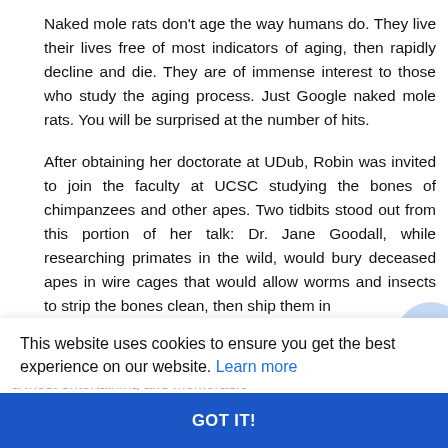Naked mole rats don't age the way humans do. They live their lives free of most indicators of aging, then rapidly decline and die. They are of immense interest to those who study the aging process. Just Google naked mole rats. You will be surprised at the number of hits.
After obtaining her doctorate at UDub, Robin was invited to join the faculty at UCSC studying the bones of chimpanzees and other apes. Two tidbits stood out from this portion of her talk: Dr. Jane Goodall, while researching primates in the wild, would bury deceased apes in wire cages that would allow worms and insects to strip the bones clean, then ship them in immaculate condition to Dr. McFadden's team at UCSC for analysis.
This website uses cookies to ensure you get the best experience on our website. Learn more
Most chimpanzees in the wild suffer multiple fractures during their lives. The cause: falling from trees. Thank you, Doctor, for a most entertaining and memorable
GOT IT!